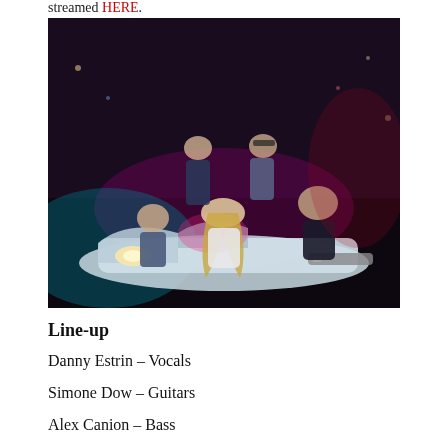streamed HERE.
[Figure (photo): Band photo: five musicians posed around and on top of a white sports car at night with purple/teal stage lighting and a city background. The central figure has long blonde hair and wears a white outfit, sitting on the car hood with a guitar.]
Line-up
Danny Estrin – Vocals
Simone Dow – Guitars
Alex Canion – Bass